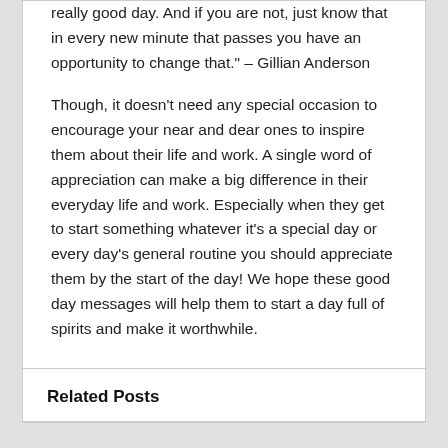really good day. And if you are not, just know that in every new minute that passes you have an opportunity to change that." – Gillian Anderson
Though, it doesn't need any special occasion to encourage your near and dear ones to inspire them about their life and work. A single word of appreciation can make a big difference in their everyday life and work. Especially when they get to start something whatever it's a special day or every day's general routine you should appreciate them by the start of the day! We hope these good day messages will help them to start a day full of spirits and make it worthwhile.
Related Posts